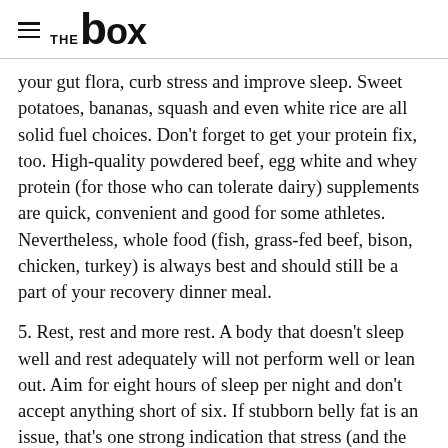THE box
your gut flora, curb stress and improve sleep. Sweet potatoes, bananas, squash and even white rice are all solid fuel choices. Don't forget to get your protein fix, too. High-quality powdered beef, egg white and whey protein (for those who can tolerate dairy) supplements are quick, convenient and good for some athletes. Nevertheless, whole food (fish, grass-fed beef, bison, chicken, turkey) is always best and should still be a part of your recovery dinner meal.
5. Rest, rest and more rest. A body that doesn't sleep well and rest adequately will not perform well or lean out. Aim for eight hours of sleep per night and don't accept anything short of six. If stubborn belly fat is an issue, that's one strong indication that stress (and the hormone cortisol) is the culprit. Whether you're stressed from lack of sleep, overdosing on CrossFit or back-to-back deadlines at work, swap your trip to the box with a visit to